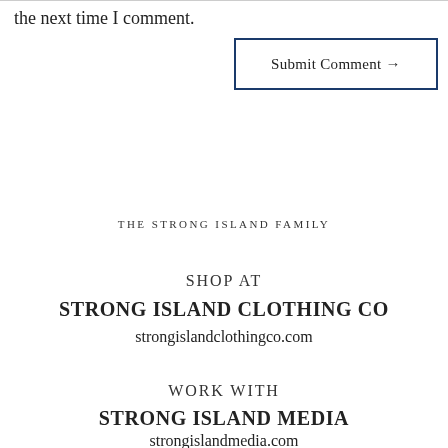the next time I comment.
Submit Comment →
THE STRONG ISLAND FAMILY
SHOP AT
STRONG ISLAND CLOTHING CO
strongislandclothingco.com
WORK WITH
STRONG ISLAND MEDIA
strongislandmedia.com